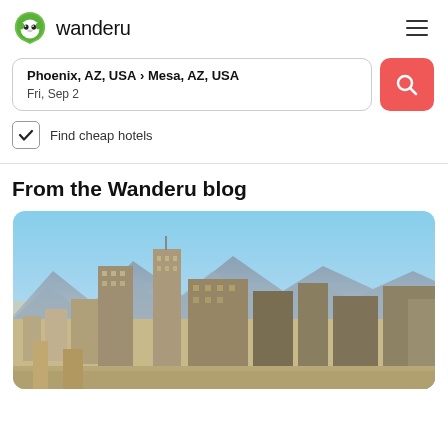wanderu
Phoenix, AZ, USA › Mesa, AZ, USA
Fri, Sep 2
Find cheap hotels
From the Wanderu blog
[Figure (photo): Aerial cityscape photo of Phoenix, AZ showing downtown skyscrapers with mountains in the background under a clear blue sky]